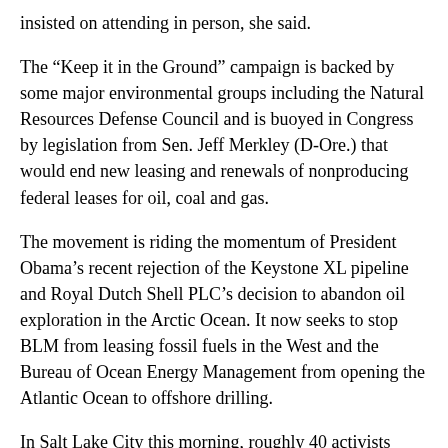insisted on attending in person, she said.
The “Keep it in the Ground” campaign is backed by some major environmental groups including the Natural Resources Defense Council and is buoyed in Congress by legislation from Sen. Jeff Merkley (D-Ore.) that would end new leasing and renewals of nonproducing federal leases for oil, coal and gas.
The movement is riding the momentum of President Obama’s recent rejection of the Keystone XL pipeline and Royal Dutch Shell PLC’s decision to abandon oil exploration in the Arctic Ocean. It now seeks to stop BLM from leasing fossil fuels in the West and the Bureau of Ocean Energy Management from opening the Atlantic Ocean to offshore drilling.
In Salt Lake City this morning, roughly 40 activists displayed theatrical bidding paddles, held up photos of their grandkids and sang folk songs including John Prine’s “Paradise,” according to Tim Bem… a representative from WildEarth…